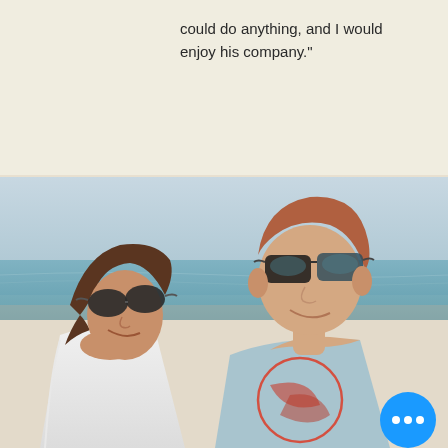could do anything, and I would enjoy his company."
[Figure (photo): A couple at the beach. A woman with brown hair, wearing sunglasses and a white tank top, leans her head on the shoulder of a man with reddish-brown hair wearing sunglasses and a light blue graphic t-shirt. The ocean and sky are visible in the background.]